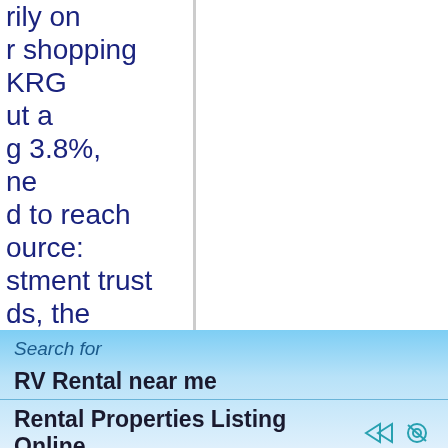rily on r shopping KRG ut a g 3.8%, ne d to reach ource: stment trust ds, the s annual creased its urthermore, ne FY21 come is a lucrative provides a ndard for
Search for RV Rental near me Rental Properties Listing Online